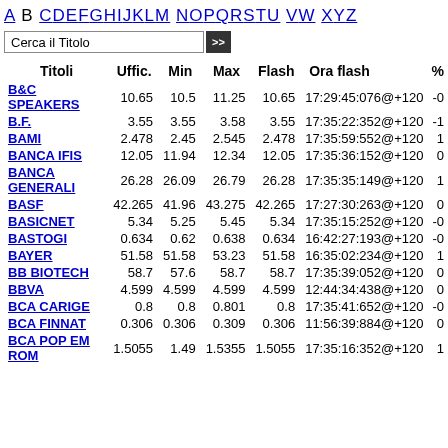A B C D E F G H I J K L M N O P Q R S T U V W X Y Z
Cerca il Titolo
| Titoli | Uffic. | Min | Max | Flash | Ora flash | % |
| --- | --- | --- | --- | --- | --- | --- |
| B&C SPEAKERS | 10.65 | 10.5 | 11.25 | 10.65 | 17:29:45:076@+120 | -0 |
| B.F. | 3.55 | 3.55 | 3.58 | 3.55 | 17:35:22:352@+120 | -1 |
| BAMI | 2.478 | 2.45 | 2.545 | 2.478 | 17:35:59:552@+120 | 1 |
| BANCA IFIS | 12.05 | 11.94 | 12.34 | 12.05 | 17:35:36:152@+120 | 0 |
| BANCA GENERALI | 26.28 | 26.09 | 26.79 | 26.28 | 17:35:35:149@+120 | 1 |
| BASF | 42.265 | 41.96 | 43.275 | 42.265 | 17:27:30:263@+120 | 0 |
| BASICNET | 5.34 | 5.25 | 5.45 | 5.34 | 17:35:15:252@+120 | -0 |
| BASTOGI | 0.634 | 0.62 | 0.638 | 0.634 | 16:42:27:193@+120 | -0 |
| BAYER | 51.58 | 51.58 | 53.23 | 51.58 | 16:35:02:234@+120 | 1 |
| BB BIOTECH | 58.7 | 57.6 | 58.7 | 58.7 | 17:35:39:052@+120 | 0 |
| BBVA | 4.599 | 4.599 | 4.599 | 4.599 | 12:44:34:438@+120 | 0 |
| BCA CARIGE | 0.8 | 0.8 | 0.801 | 0.8 | 17:35:41:652@+120 | -0 |
| BCA FINNAT | 0.306 | 0.306 | 0.309 | 0.306 | 11:56:39:884@+120 | 0 |
| BCA POP EM ROM | 1.5055 | 1.49 | 1.5355 | 1.5055 | 17:35:16:352@+120 | 1 |